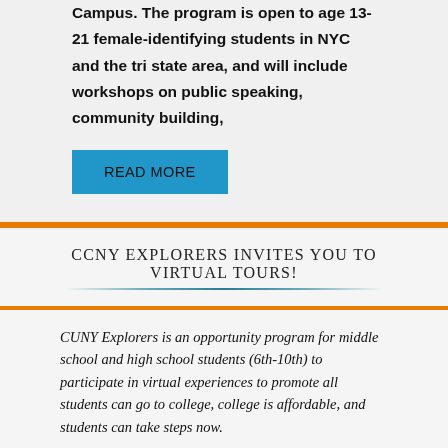Campus. The program is open to age 13-21 female-identifying students in NYC and the tri state area, and will include workshops on public speaking, community building,
READ MORE
CCNY EXPLORERS INVITES YOU TO VIRTUAL TOURS!
CUNY Explorers is an opportunity program for middle school and high school students (6th-10th) to participate in virtual experiences to promote all students can go to college, college is affordable, and students can take steps now.
Virtual Experiences: